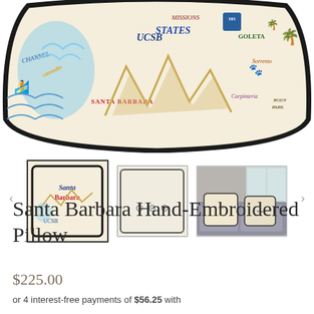[Figure (photo): Main product image: close-up of a colorful hand-embroidered pillow showing Santa Barbara area map with text labels like UCSB, Carpinteria, Santa Barbara, Channel, Sorrento, Coronado, and decorative illustrations of surfers, palm trees, and coastal landmarks. The pillow has a black piping border on a cream background.]
[Figure (photo): Thumbnail carousel with navigation arrows. Three thumbnails: (1) selected thumbnail with black border showing the front of the Santa Barbara embroidered pillow; (2) thumbnail showing the back of the pillow, cream/off-white with three buttons; (3) thumbnail showing two embroidered pillows on a grey sofa in a lifestyle setting.]
Santa Barbara Hand-Embroidered Pillow
$225.00
or 4 interest-free payments of $56.25 with